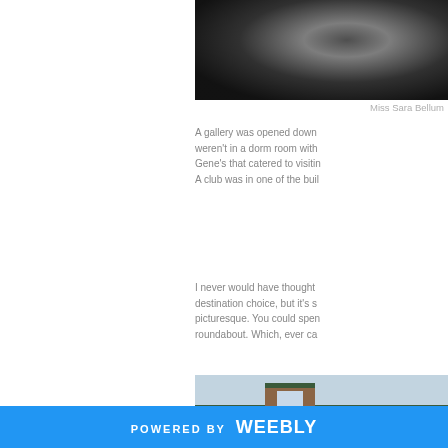[Figure (photo): Dark aerial or nature photo, mostly black/dark tones with some lighter patches]
Miss Sara Bellum
A gallery was opened down weren't in a dorm room with Gene's that catered to visitin A club was in one of the buil
I never would have thought destination choice, but it's s picturesque. You could spen roundabout. Which, ever ca
[Figure (photo): Exterior photo of a historic brick building with dormer window and green roof trim, against a light sky]
POWERED BY weebly